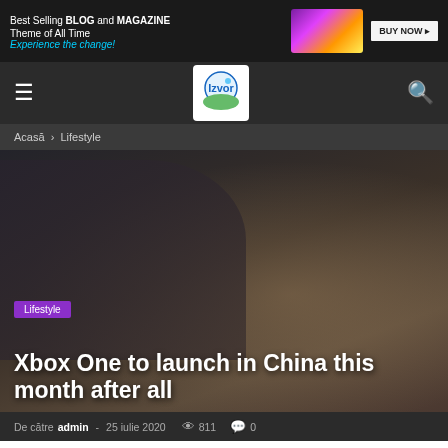[Figure (screenshot): Ad banner: Best Selling BLOG and MAGAZINE Theme of All Time, Experience the change! with BUY NOW button and colorful tablet image]
Navigation bar with hamburger menu, Izvor logo, and search icon
Acasă › Lifestyle
[Figure (photo): Dark hero background photo of person sitting with hands resting on knees, outdoors with wooden/natural elements]
Lifestyle
Xbox One to launch in China this month after all
De către admin - 25 iulie 2020  811  0